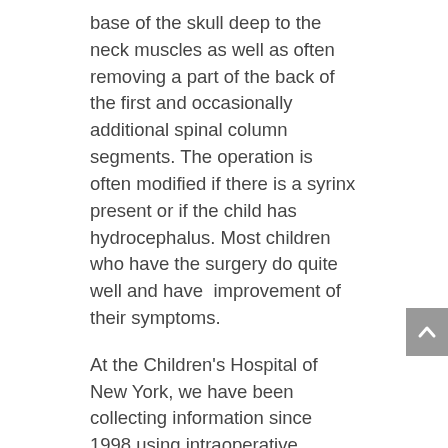base of the skull deep to the neck muscles as well as often removing a part of the back of the first and occasionally additional spinal column segments. The operation is often modified if there is a syrinx present or if the child has hydrocephalus. Most children who have the surgery do quite well and have improvement of their symptoms.
At the Children's Hospital of New York, we have been collecting information since 1998 using intraoperative electrophysiological monitoring to help determine whether opening of the dura (a thick membrane that surrounds the brain and spinal cord) is a necessary component of surgery for children with Chiari I malformation. We discovered that most of the improvement in nerve impulses through the brain and spinal cord occurs after removal of the bone. However,